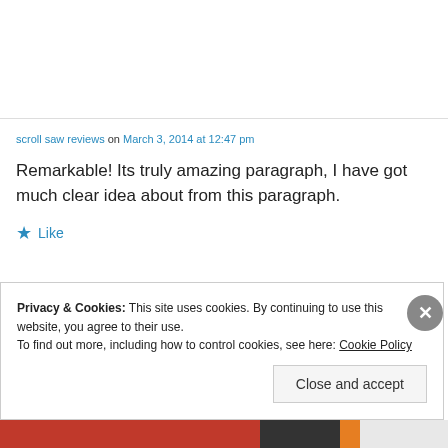scroll saw reviews on March 3, 2014 at 12:47 pm
Remarkable! Its truly amazing paragraph, I have got much clear idea about from this paragraph.
★ Like
Privacy & Cookies: This site uses cookies. By continuing to use this website, you agree to their use.
To find out more, including how to control cookies, see here: Cookie Policy
Close and accept